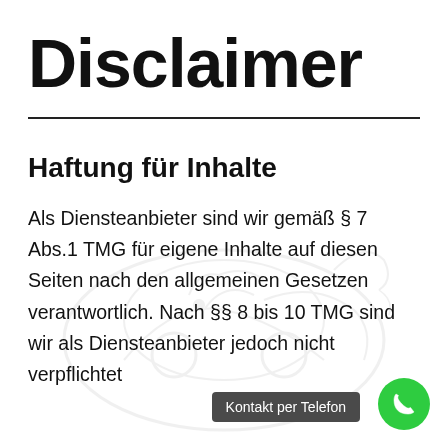Disclaimer
Haftung für Inhalte
Als Diensteanbieter sind wir gemäß § 7 Abs.1 TMG für eigene Inhalte auf diesen Seiten nach den allgemeinen Gesetzen verantwortlich. Nach §§ 8 bis 10 TMG sind wir als Diensteanbieter jedoch nicht verpflichtet